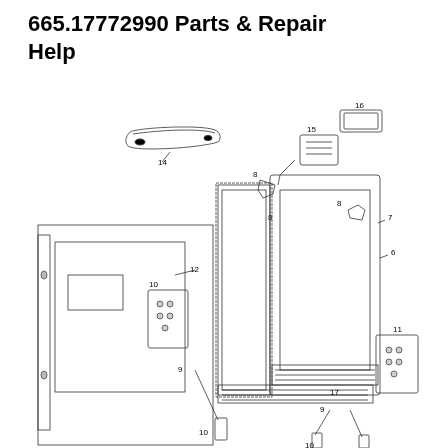665.17772990 Parts & Repair Help
[Figure (engineering-diagram): Exploded parts diagram of a dishwasher door assembly for model 665.17772990, showing numbered components 6-17 including door handle (14), inner door panel (12), outer door frame, control panel area (10, 11), door latch components (8, 9), door gasket/seal, vent assembly (15, 16), and bottom trim piece (17).]